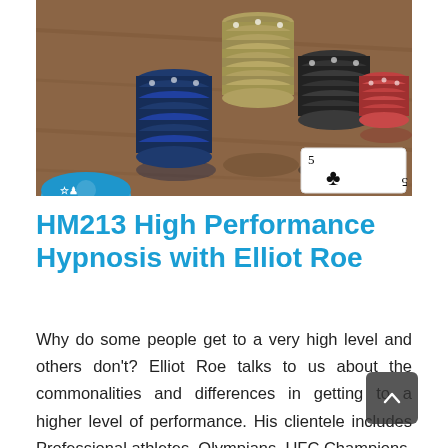[Figure (photo): Stacks of poker chips in blue, olive/grey, black, and red/pink colors on a wooden table surface, with a playing card (5 of clubs) visible in the bottom right corner and a blue chip partially visible in the bottom left.]
HM213 High Performance Hypnosis with Elliot Roe
Why do some people get to a very high level and others don't? Elliot Roe talks to us about the commonalities and differences in getting to a higher level of performance. His clientele includes Professional athletes, Olympians, UFC Champions, E-Sports competitors, Hollywood actors, high-